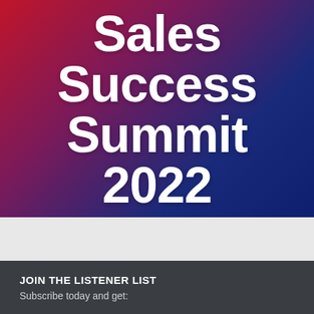Sales Success Summit 2022
JOIN THE LISTENER LIST
Subscribe today and get: